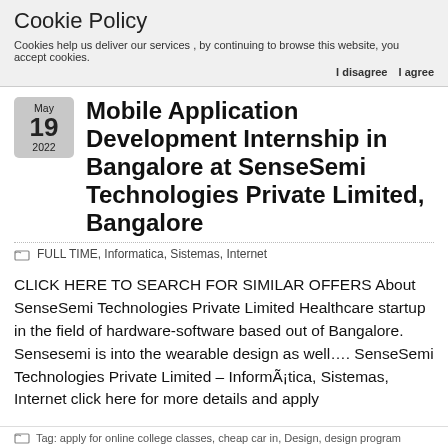Cookie Policy
Cookies help us deliver our services , by continuing to browse this website, you accept cookies.
I disagree  I agree
Mobile Application Development Internship in Bangalore at SenseSemi Technologies Private Limited, Bangalore
FULL TIME, Informatica, Sistemas, Internet
CLICK HERE TO SEARCH FOR SIMILAR OFFERS About SenseSemi Technologies Private Limited Healthcare startup in the field of hardware-software based out of Bangalore. Sensesemi is into the wearable design as well…. SenseSemi Technologies Private Limited – InformÃ¡tica, Sistemas, Internet click here for more details and apply
Tag: apply for online college classes, cheap car in, Design, design program